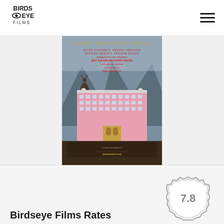Birds Eye Films logo and navigation
[Figure (photo): Movie poster for The Grand Budapest Hotel – pink ornate hotel building with mountains behind, deer on rock, cast names listed at top in red and gold lettering, director Wes Anderson]
[Figure (infographic): Rating badge showing 7.8 score in a decorative seal/badge shape]
Birdseye Films Rates